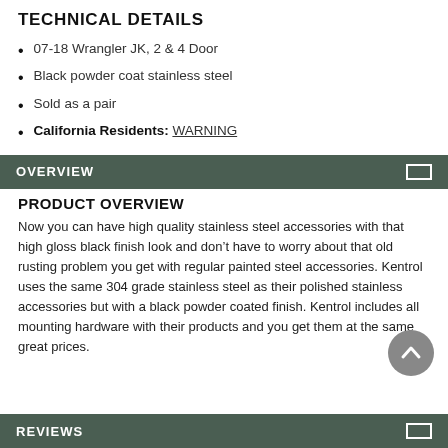TECHNICAL DETAILS
07-18 Wrangler JK, 2 & 4 Door
Black powder coat stainless steel
Sold as a pair
California Residents: WARNING
OVERVIEW
PRODUCT OVERVIEW
Now you can have high quality stainless steel accessories with that high gloss black finish look and don’t have to worry about that old rusting problem you get with regular painted steel accessories. Kentrol uses the same 304 grade stainless steel as their polished stainless accessories but with a black powder coated finish. Kentrol includes all mounting hardware with their products and you get them at the same great prices.
REVIEWS